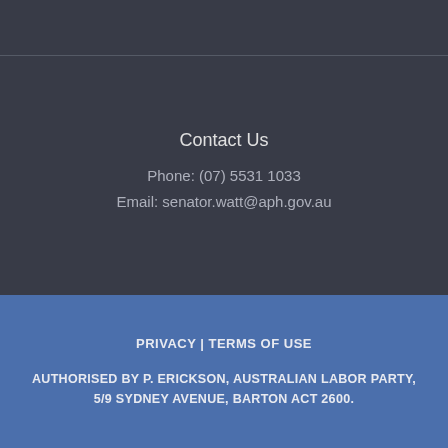Contact Us
Phone: (07) 5531 1033
Email: senator.watt@aph.gov.au
PRIVACY | TERMS OF USE
AUTHORISED BY P. ERICKSON, AUSTRALIAN LABOR PARTY, 5/9 SYDNEY AVENUE, BARTON ACT 2600.